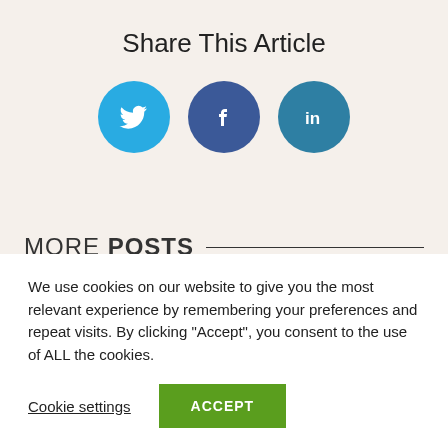Share This Article
[Figure (illustration): Three social media icon buttons: Twitter (light blue circle with bird icon), Facebook (dark blue circle with f icon), LinkedIn (teal-blue circle with 'in' icon)]
MORE POSTS
We use cookies on our website to give you the most relevant experience by remembering your preferences and repeat visits. By clicking “Accept”, you consent to the use of ALL the cookies.
Cookie settings   ACCEPT